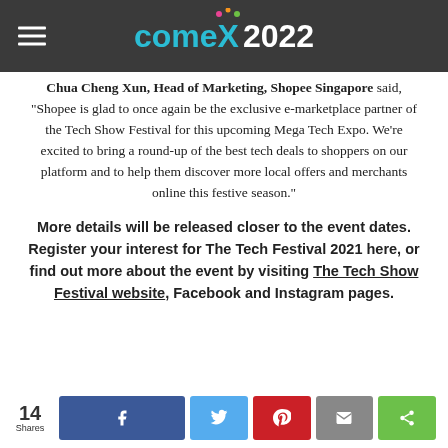comex 2022
Chua Cheng Xun, Head of Marketing, Shopee Singapore said, “Shopee is glad to once again be the exclusive e-marketplace partner of the Tech Show Festival for this upcoming Mega Tech Expo. We’re excited to bring a round-up of the best tech deals to shoppers on our platform and to help them discover more local offers and merchants online this festive season.”
More details will be released closer to the event dates. Register your interest for The Tech Festival 2021 here, or find out more about the event by visiting The Tech Show Festival website, Facebook and Instagram pages.
14 Shares